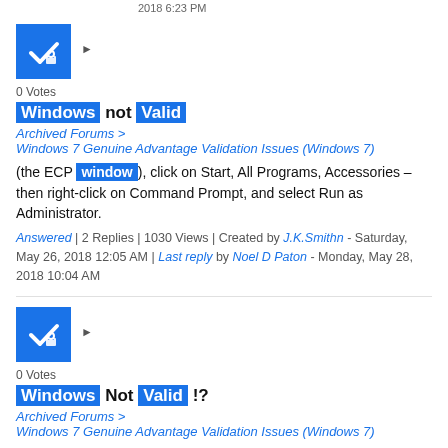2018 6:23 PM
[Figure (illustration): Blue square icon with white checkmark and lock symbol]
0 Votes
Windows not Valid
Archived Forums > Windows 7 Genuine Advantage Validation Issues (Windows 7)
(the ECP window), click on Start, All Programs, Accessories – then right-click on Command Prompt, and select Run as Administrator.
Answered | 2 Replies | 1030 Views | Created by J.K.Smithn - Saturday, May 26, 2018 12:05 AM | Last reply by Noel D Paton - Monday, May 28, 2018 10:04 AM
[Figure (illustration): Blue square icon with white checkmark and lock symbol]
0 Votes
Windows Not Valid !?
Archived Forums > Windows 7 Genuine Advantage Validation Issues (Windows 7)
Having trouble, just like a couple of weeks ago i started getting this "This computer is not running genuine Windows" Well i've been running the same copy of Win7 Signature Edition.